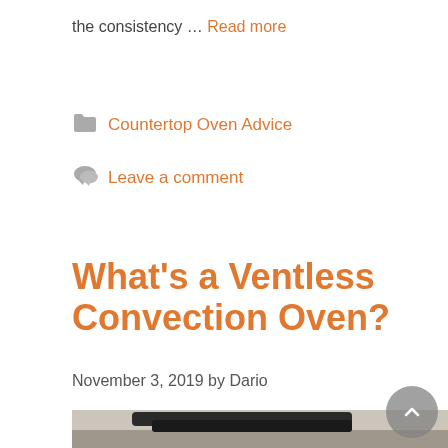the consistency … Read more
Countertop Oven Advice
Leave a comment
What's a Ventless Convection Oven?
November 3, 2019 by Dario
[Figure (photo): Black baking pans sitting on top of a countertop oven, kitchen background]